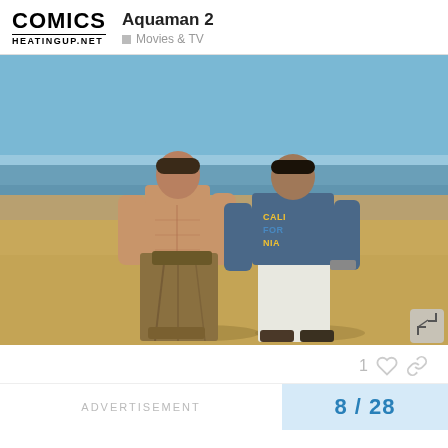COMICS HEATINGUP.NET — Aquaman 2 — Movies & TV
[Figure (photo): Two men standing on a sandy beach. The man on the left is shirtless with an athletic build, wearing wrapped/draped sandy brown trousers and sandals. The man on the right is wearing a blue graphic t-shirt reading 'CALIFORNIA' and white pants with sandals. Blue sky and ocean in the background.]
1 ♡ 🔗
ADVERTISEMENT
8 / 28